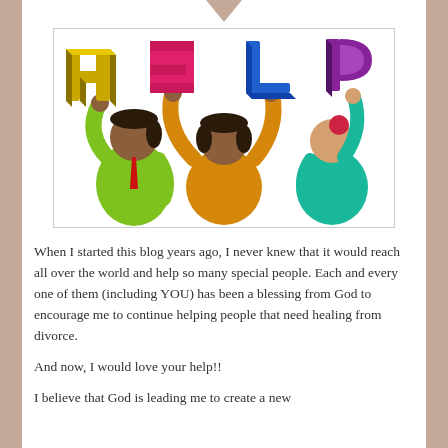[Figure (illustration): Cartoon illustration of three figures holding up letters spelling HELP. Left figure wears green jacket with red tie and holds yellow H. Center figure wears yellow/orange top and holds pink E and blue L. Right figure wears teal shirt and holds purple P. Each figure has brown skin tones.]
When I started this blog years ago, I never knew that it would reach all over the world and help so many special people. Each and every one of them (including YOU) has been a blessing from God to encourage me to continue helping people that need healing from divorce.
And now, I would love your help!!
I believe that God is leading me to create a new